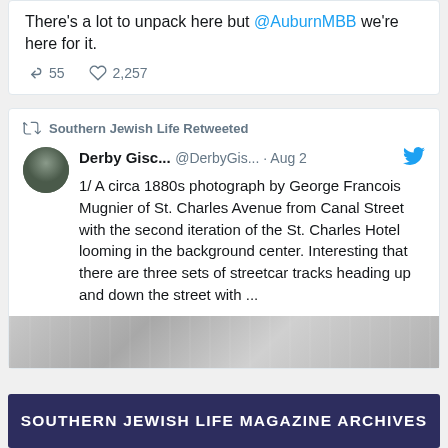There's a lot to unpack here but @AuburnMBB we're here for it.
55  2,257
Southern Jewish Life Retweeted
Derby Gisc... @DerbyGis... · Aug 2
1/ A circa 1880s photograph by George Francois Mugnier of St. Charles Avenue from Canal Street with the second iteration of the St. Charles Hotel looming in the background center. Interesting that there are three sets of streetcar tracks heading up and down the street with ...
[Figure (photo): Partial view of a historical black and white photograph of a street scene, cropped at bottom of card]
SOUTHERN JEWISH LIFE MAGAZINE ARCHIVES